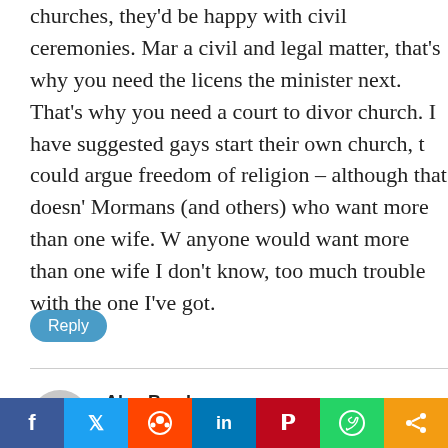churches, they'd be happy with civil ceremonies. Mar a civil and legal matter, that's why you need the licens the minister next. That's why you need a court to divor church. I have suggested gays start their own church, t could argue freedom of religion – although that doesn' Mormans (and others) who want more than one wife. W anyone would want more than one wife I don't know, too much trouble with the one I've got.
Reply
Alex Bowles
Nov 17, 2008 at 2:51 pm
F.A.S.
The CLDS has received special approbation becaue o